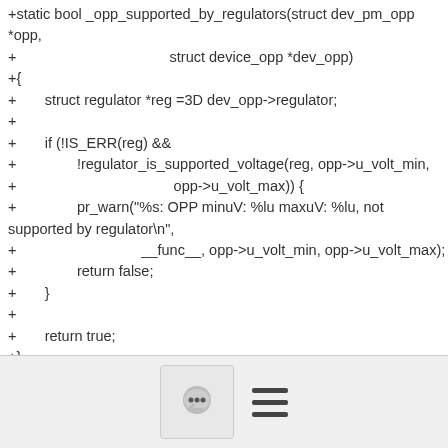+static bool _opp_supported_by_regulators(struct dev_pm_opp *opp,
+                                      struct device_opp *dev_opp)
+{
+       struct regulator *reg =3D dev_opp->regulator;
+
+       if (!IS_ERR(reg) &&
+               !regulator_is_supported_voltage(reg, opp->u_volt_min,
+                                       opp->u_volt_max)) {
+               pr_warn("%s: OPP minuV: %lu maxuV: %lu, not supported by regulator\n",
+                               __func__, opp->u_volt_min, opp->u_volt_max);
+               return false;
+       }
+
+       return true;
+}
+
 static int _opp_add(struct device *dev, struct dev_pm_opp
[Figure (other): Footer bar with a comment/chat icon button and a hamburger menu icon]